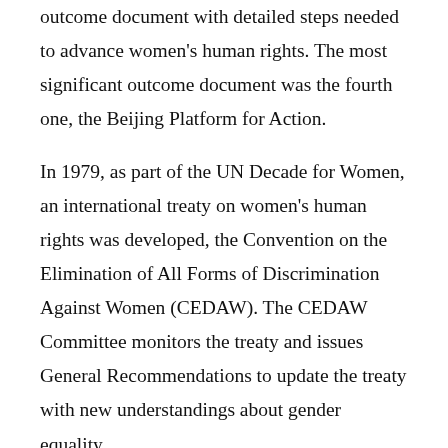outcome document with detailed steps needed to advance women's human rights. The most significant outcome document was the fourth one, the Beijing Platform for Action.
In 1979, as part of the UN Decade for Women, an international treaty on women's human rights was developed, the Convention on the Elimination of All Forms of Discrimination Against Women (CEDAW). The CEDAW Committee monitors the treaty and issues General Recommendations to update the treaty with new understandings about gender equality.